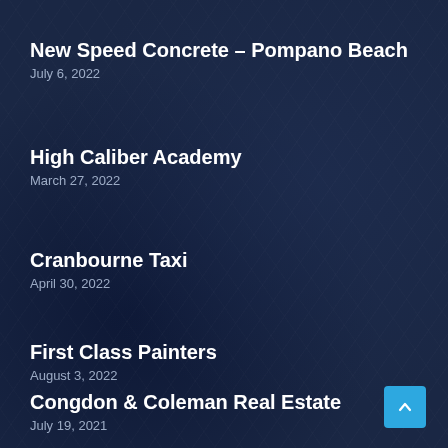New Speed Concrete – Pompano Beach
July 6, 2022
High Caliber Academy
March 27, 2022
Cranbourne Taxi
April 30, 2022
First Class Painters
August 3, 2022
Congdon & Coleman Real Estate
July 19, 2021